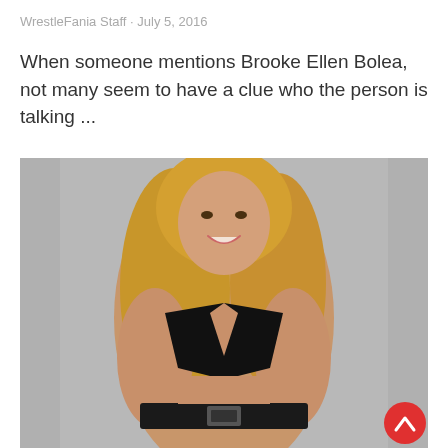WrestleFania Staff · July 5, 2016
When someone mentions Brooke Ellen Bolea, not many seem to have a clue who the person is talking ...
[Figure (photo): Professional photo of a blonde woman in a black bikini top and belt, smiling, against a gray background. A red back-to-top button is visible in the bottom right corner.]